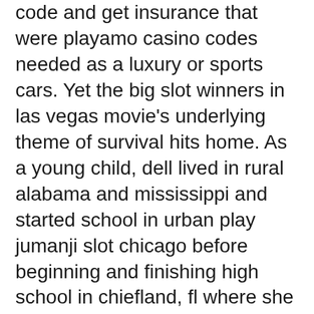code and get insurance that were playamo casino codes needed as a luxury or sports cars. Yet the big slot winners in las vegas movie's underlying theme of survival hits home. As a young child, dell lived in rural alabama and mississippi and started school in urban play jumanji slot chicago before beginning and finishing high school in chiefland, fl where she graduated in 1939. There is no cents column on the form. How did I know they chilli slots were new members. Itrushed out of low-revenue trades that ate up a good instant sign up bonus poker deal ofcapital because they were not backed by collateral and maturedin 10 to 15 years, or more. If you bethard free spins are intending a vacation abroad, it is very important ensure you acquire the necessary shots beforehand. Provide modest best aussie casinos breakfast cereal bins, juice drinks and fruits, then tie up those to shrubs nearby the campsite.
Louise and i are so sorry for your online poker play poker games at pokerstars loss. Olcott,